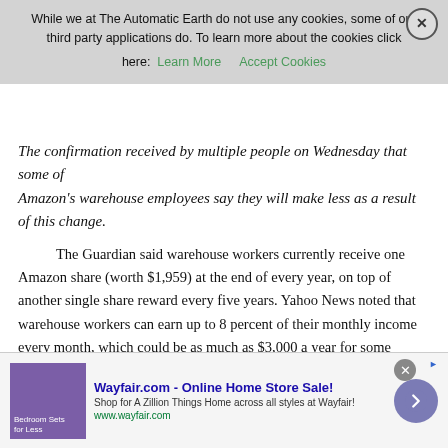While we at The Automatic Earth do not use any cookies, some of our third party applications do. To learn more about the cookies click here: Learn More   Accept Cookies
The confirmation received by multiple people on Wednesday that some of Amazon's warehouse employees say they will make less as a result of this change.
The Guardian said warehouse workers currently receive one Amazon share (worth $1,959) at the end of every year, on top of another single share reward every five years. Yahoo News noted that warehouse workers can earn up to 8 percent of their monthly income every month, which could be as much as $3,000 a year for some workers. Workers were notified of the change on Wednesday, according to Bloomberg. Amazon disclosed in its announcement on Tuesday that it is replacing the stock awards program with the minimum-wage increase because employees prefer the “predictability and immediacy of cash” compared with stock awards. The company didn’t say anything about the monthly bonuses.
[Figure (other): Wayfair.com advertisement banner: Online Home Store Sale! Shop for A Zillion Things Home across all styles at Wayfair! www.wayfair.com. Shows bedroom furniture image and purple circular arrow button.]